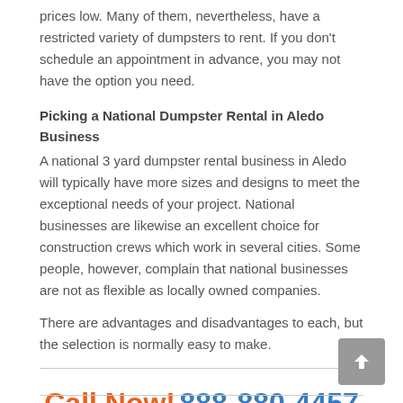prices low. Many of them, nevertheless, have a restricted variety of dumpsters to rent. If you don't schedule an appointment in advance, you may not have the option you need.
Picking a National Dumpster Rental in Aledo Business
A national 3 yard dumpster rental business in Aledo will typically have more sizes and designs to meet the exceptional needs of your project. National businesses are likewise an excellent choice for construction crews which work in several cities. Some people, however, complain that national businesses are not as flexible as locally owned companies.
There are advantages and disadvantages to each, but the selection is normally easy to make.
Call Now! 888-880-4457